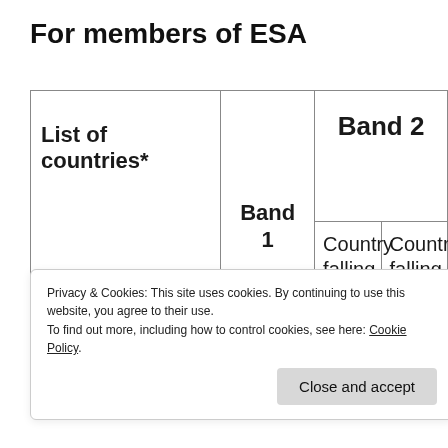For members of ESA
| List of countries* | Band 1 | Country falling under A | Country falling under [B]** |
| --- | --- | --- | --- |
|  |  |  |  |